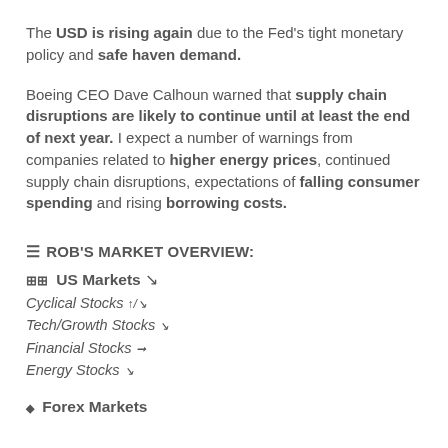The USD is rising again due to the Fed's tight monetary policy and safe haven demand.
Boeing CEO Dave Calhoun warned that supply chain disruptions are likely to continue until at least the end of next year. I expect a number of warnings from companies related to higher energy prices, continued supply chain disruptions, expectations of falling consumer spending and rising borrowing costs.
ROB'S MARKET OVERVIEW:
US Markets ↘
Cyclical Stocks ↑/↘
Tech/Growth Stocks ↘
Financial Stocks →
Energy Stocks ↘
Forex Markets